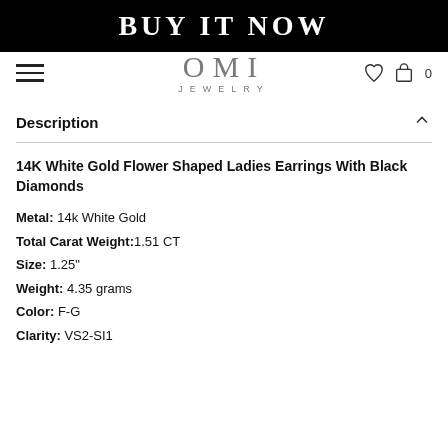[Figure (screenshot): BUY IT NOW banner in black background with white bold text]
OMI JEWELRY — navigation bar with hamburger menu, logo, heart icon, shopping bag icon, 0
Description
14K White Gold Flower Shaped Ladies Earrings With Black Diamonds
Metal: 14k White Gold
Total Carat Weight: 1.51 CT
Size: 1.25"
Weight: 4.35 grams
Color: F-G
Clarity: VS2-SI1